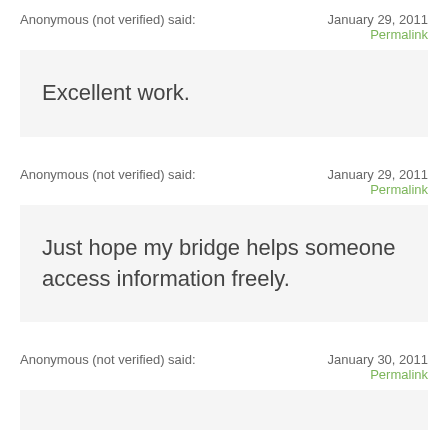Anonymous (not verified) said:    January 29, 2011
Permalink
Excellent work.
Anonymous (not verified) said:    January 29, 2011
Permalink
Just hope my bridge helps someone access information freely.
Anonymous (not verified) said:    January 30, 2011
Permalink